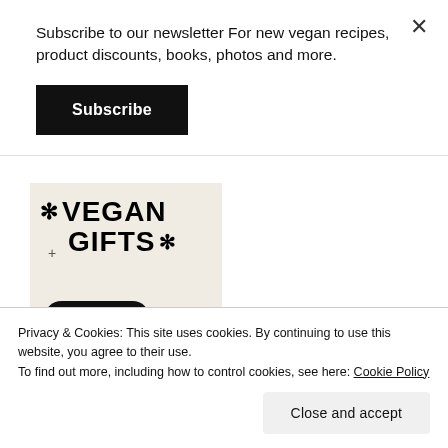Subscribe to our newsletter For new vegan recipes, product discounts, books, photos and more.
Subscribe
[Figure (illustration): Vegan Gifts advertisement image with 'VEGAN GIFTS' text, asterisk/snowflake decorations, a 'Shop Now' button, and a photo of a tattooed person at the bottom]
Privacy & Cookies: This site uses cookies. By continuing to use this website, you agree to their use.
To find out more, including how to control cookies, see here: Cookie Policy
Close and accept